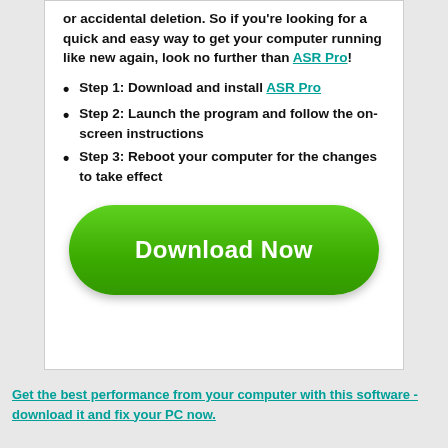or accidental deletion. So if you're looking for a quick and easy way to get your computer running like new again, look no further than ASR Pro!
Step 1: Download and install ASR Pro
Step 2: Launch the program and follow the on-screen instructions
Step 3: Reboot your computer for the changes to take effect
[Figure (other): Green Download Now button]
Get the best performance from your computer with this software - download it and fix your PC now.